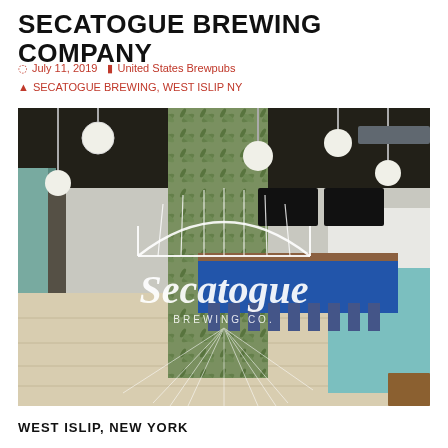SECATOGUE BREWING COMPANY
July 11, 2019   United States Brewpubs   SECATOGUE BREWING, WEST ISLIP NY
[Figure (photo): Interior of Secatogue Brewing Company taproom showing open floor plan with globe pendant lights, green botanical wallpaper, blue bar with stools, teal lower walls, light wood flooring, and the Secatogue Brewing Co logo overlay]
WEST ISLIP, NEW YORK